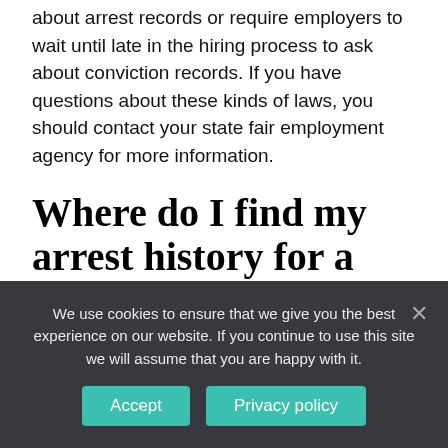about arrest records or require employers to wait until late in the hiring process to ask about conviction records. If you have questions about these kinds of laws, you should contact your state fair employment agency for more information.
Where do I find my arrest history for a background check?
As such, background check companies typically find this information during their investigations. However, most background check agencies will not include
We use cookies to ensure that we give you the best experience on our website. If you continue to use this site we will assume that you are happy with it.